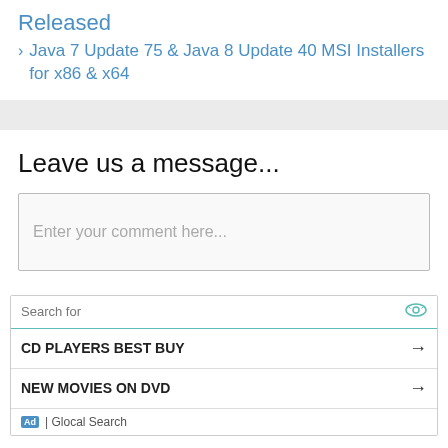Released
Java 7 Update 75 & Java 8 Update 40 MSI Installers for x86 & x64
Leave us a message...
Enter your comment here...
[Figure (other): Advertisement widget with search box showing 'Search for' with eye icon, two search result rows: 'CD PLAYERS BEST BUY' and 'NEW MOVIES ON DVD' each with arrow, and footer 'Ad | Glocal Search']